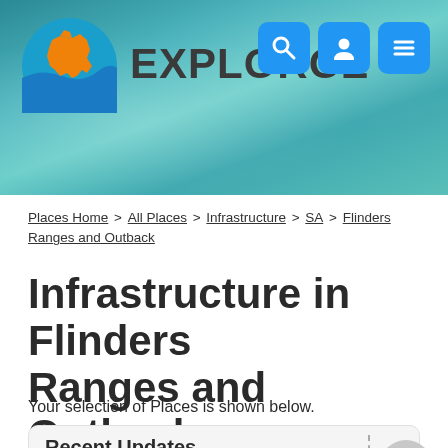[Figure (screenshot): ExplorOZ website header with ocean/coastal aerial photo background, circular logo showing orange Australia map outline on blue background, EXPLOROZ brand text, and three blue icon buttons (search, user, menu) in top right]
Places Home > All Places > Infrastructure > SA > Flinders Ranges and Outback
Infrastructure in Flinders Ranges and Outback
Your selection of Places is shown below.
Recent Updates